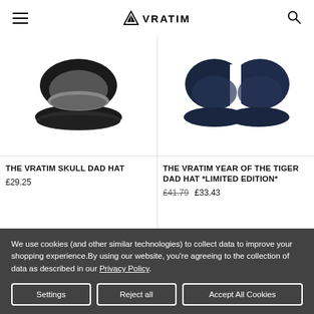VRATIM
[Figure (photo): Product image of a black dad hat, viewed from below showing the brim and underside, on white background]
[Figure (photo): Product image of a navy blue dad hat, viewed from below showing the brim and underside, on white background]
THE VRATIM SKULL DAD HAT
£29.25
THE VRATIM YEAR OF THE TIGER DAD HAT *LIMITED EDITION*
£41.79  £33.43
We use cookies (and other similar technologies) to collect data to improve your shopping experience.By using our website, you're agreeing to the collection of data as described in our Privacy Policy.